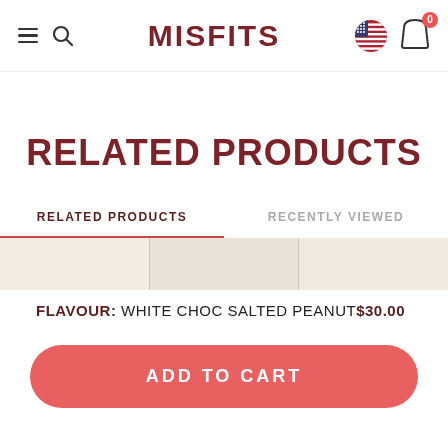MISFITS
RELATED PRODUCTS
RELATED PRODUCTS | RECENTLY VIEWED
[Figure (other): Product image strip showing three product thumbnails in muted beige/cream tones]
FLAVOUR: WHITE CHOC SALTED PEANUT $30.00
ADD TO CART